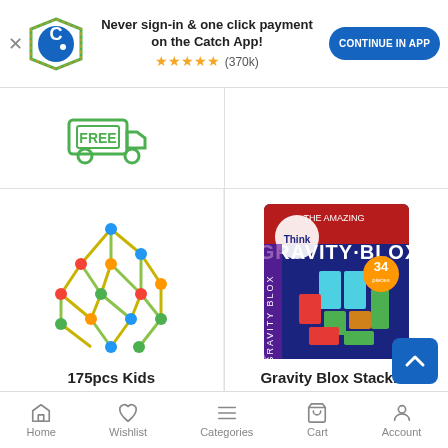[Figure (screenshot): Catch app banner with logo, text 'Never sign-in & one click payment on the Catch App!', star rating (370k), and 'CONTINUE IN APP' button]
[Figure (illustration): FREE delivery truck icon badge in green]
[Figure (photo): 175pcs Kids Construction Fort building toy with colorful geometric mesh structure]
175pcs Kids Construction Fort
OLiandOLa
[Figure (photo): Gravity Blox Stacking Toy product box with colorful tetris-like blocks]
Gravity Blox Stacking Toy
Popular Playthings
Home  Wishlist  Categories  Cart  Account